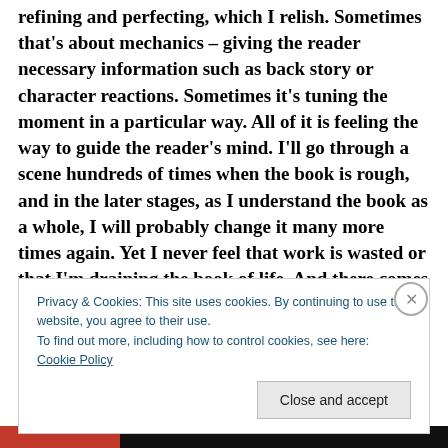refining and perfecting, which I relish. Sometimes that's about mechanics – giving the reader necessary information such as back story or character reactions. Sometimes it's tuning the moment in a particular way. All of it is feeling the way to guide the reader's mind. I'll go through a scene hundreds of times when the book is rough, and in the later stages, as I understand the book as a whole, I will probably change it many more times again. Yet I never feel that work is wasted or that I'm draining the book of life. And there comes a time when it's all done – and I know it is. I can read the
Privacy & Cookies: This site uses cookies. By continuing to use this website, you agree to their use.
To find out more, including how to control cookies, see here: Cookie Policy